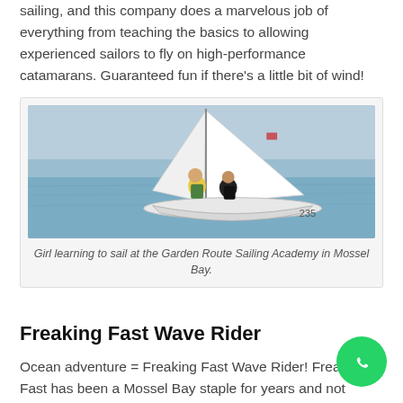sailing, and this company does a marvelous job of everything from teaching the basics to allowing experienced sailors to fly on high-performance catamarans. Guaranteed fun if there's a little bit of wind!
[Figure (photo): Girl learning to sail on a small sailboat (numbered 235) on the water at the Garden Route Sailing Academy in Mossel Bay.]
Girl learning to sail at the Garden Route Sailing Academy in Mossel Bay.
Freaking Fast Wave Rider
Ocean adventure = Freaking Fast Wave Rider! Freaking Fast has been a Mossel Bay staple for years and not